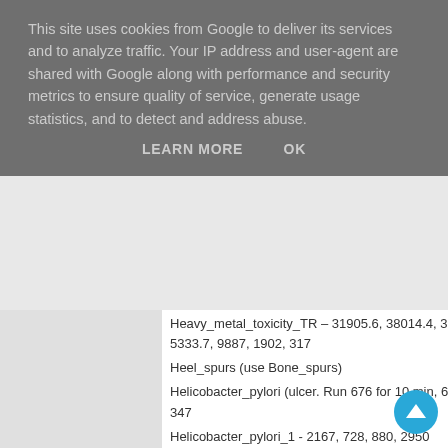This site uses cookies from Google to deliver its services and to analyze traffic. Your IP address and user-agent are shared with Google along with performance and security metrics to ensure quality of service, generate usage statistics, and to detect and address abuse.
LEARN MORE    OK
Heavy_metal_toxicity_TR – 31905.6, 38014.4, 39032.6, 43644.3, 56656.4, 76677.5, 43644.3, 38014.3, 4202.3, 5333.7, 9887, 1902, 317
Heel_spurs (use Bone_spurs)
Helicobacter_pylori (ulcer. Run 676 for 10 min, 676*) - 2950, 2819, 2779, 2167, 880, 728, 705, 695, 676, 352, 347
Helicobacter_pylori_1 - 2167, 728, 880, 2950
Helicobacter_pylori_2 - 695, 2779, 705, 2819
Helicobacter_pylori_3 - 0.2, 0.4, 0.6, 0.8
Helminthosporium (the reproductive element of some parasitic worms) - 793, 969
Hemobartinella_felis - 603, 957
Hemophilia – 603
Hemorrage - 1550, 802
Hemorrhoids - 4474, 6117, 774, 1550, 447, 880, 802, 727